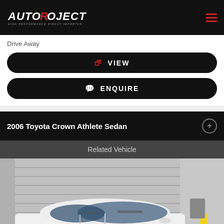[Figure (logo): AutoProject logo on black header with hamburger menu icon]
Drive Away
VIEW
ENQUIRE
2006 Toyota Crown Athlete Sedan
Related Vehicle
[Figure (photo): White 2006 Toyota Crown Athlete Sedan parked in front of corrugated metal roller door with yellow bollards]